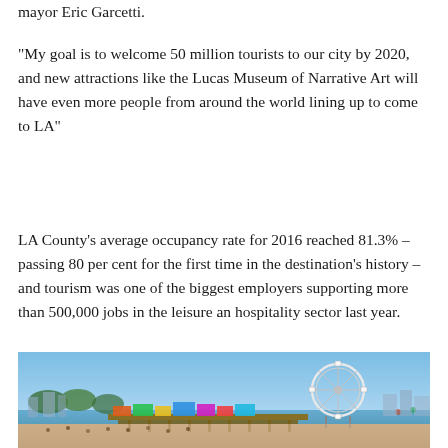mayor Eric Garcetti.
“My goal is to welcome 50 million tourists to our city by 2020, and new attractions like the Lucas Museum of Narrative Art will have even more people from around the world lining up to come to LA”
LA County’s average occupancy rate for 2016 reached 81.3% – passing 80 per cent for the first time in the destination’s history – and tourism was one of the biggest employers supporting more than 500,000 jobs in the leisure an hospitality sector last year.
[Figure (photo): Aerial/wide view of Santa Monica Pier and amusement park with Ferris wheel, colorful rides, crowded beach and blue sky]